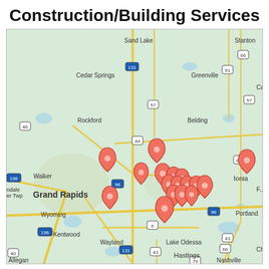Construction/Building Services
[Figure (map): Google Maps view centered on Grand Rapids, Michigan area showing construction/building services locations marked with red pins. Cities visible include Grand Rapids, Walker, Wyoming, Kentwood, Rockford, Cedar Springs, Sand Lake, Greenville, Belding, Ionia, Portland, Lake Odessa, Wayland, Hastings, Nashville, Allegan, and others. Multiple red location pins are clustered around the Grand Rapids / Cascade area.]